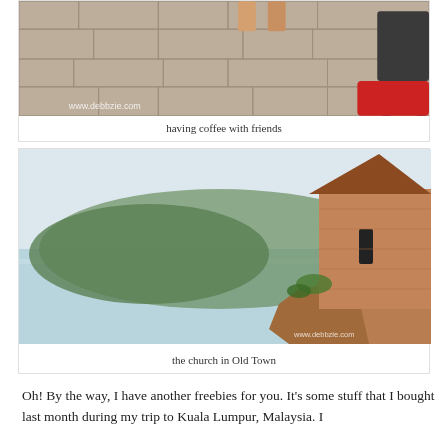[Figure (photo): Photo of people having coffee at an outdoor cafe with stone paving tiles, showing legs and a red bag, watermark www.debbzie.com]
having coffee with friends
[Figure (photo): Photo of a historic stone church building perched on rocky cliffs above the sea with greenery in background, Old Town, watermark www.debbzie.com]
the church in Old Town
Oh! By the way, I have another freebies for you. It's some stuff that I bought last month during my trip to Kuala Lumpur, Malaysia. I